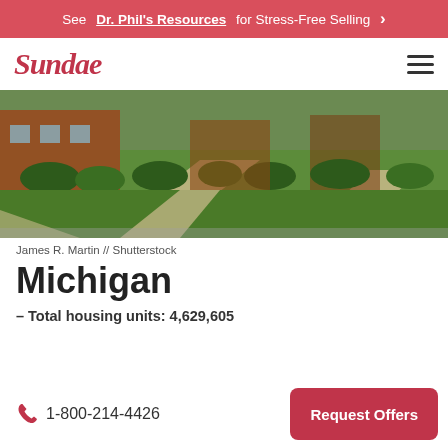See Dr. Phil's Resources for Stress-Free Selling >
[Figure (logo): Sundae logo in red cursive script with hamburger menu icon on the right]
[Figure (photo): Suburban brick homes with green lawns, concrete sidewalks and driveways on a sunny day]
James R. Martin // Shutterstock
Michigan
– Total housing units: 4,629,605
1-800-214-4426
Request Offers